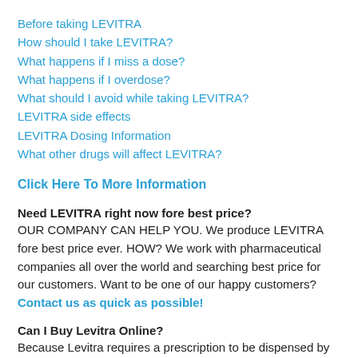Before taking LEVITRA
How should I take LEVITRA?
What happens if I miss a dose?
What happens if I overdose?
What should I avoid while taking LEVITRA?
LEVITRA side effects
LEVITRA Dosing Information
What other drugs will affect LEVITRA?
Click Here To More Information
Need LEVITRA right now fore best price?
OUR COMPANY CAN HELP YOU. We produce LEVITRA fore best price ever. HOW? We work with pharmaceutical companies all over the world and searching best price for our customers. Want to be one of our happy customers? Contact us as quick as possible!
Can I Buy Levitra Online?
Because Levitra requires a prescription to be dispensed by pharmacies in the United States, one cannot get Levitra OTC (over the counter). Also, because of these prescription requirements, one cannot simply buy Levitra online in the US without first consulting a medical provider.